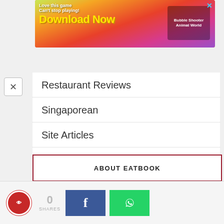[Figure (screenshot): Advertisement banner for a mobile game (Bubble Shooter Animal World) with colorful gradient background, text 'Love this game Can't stop playing! Download Now', and a close button.]
Restaurant Reviews
Singaporean
Site Articles
Supper
Thai
Tiger Street Food
Vietnamese
Western
ABOUT EATBOOK
[Figure (logo): Eatbook logo (red circle with eye icon), shares count 0, Facebook share button (blue), WhatsApp share button (green)]